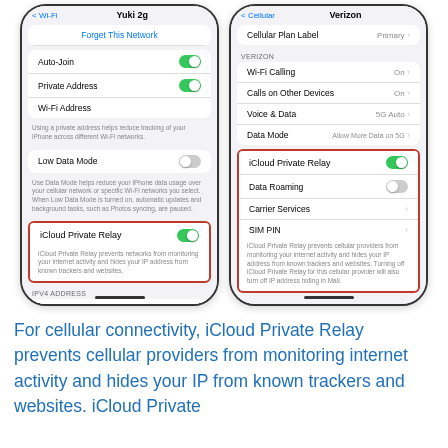[Figure (screenshot): Two iPhone screenshots side by side. Left: Wi-Fi settings screen showing 'Yuki 2g' network with Auto-Join (on), Private Address (on), Wi-Fi Address, Low Data Mode (off), and iCloud Private Relay (on, highlighted in red box) with description text. Right: Cellular settings screen showing Verizon carrier with Cellular Plan Label (Primary), Wi-Fi Calling (On), Calls on Other Devices (On), Voice & Data (5G Auto), Data Mode (Allow More Data on 5G), and a red box highlighting iCloud Private Relay (on), Data Roaming (off), Carrier Services, SIM PIN with descriptive text below.]
For cellular connectivity, iCloud Private Relay prevents cellular providers from monitoring internet activity and hides your IP from known trackers and websites. iCloud Private